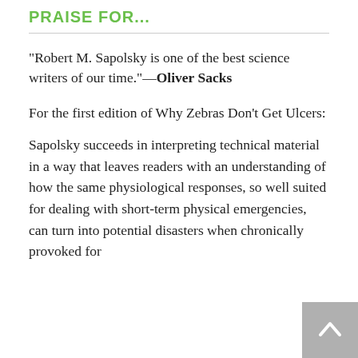PRAISE FOR...
"Robert M. Sapolsky is one of the best science writers of our time."—Oliver Sacks
For the first edition of Why Zebras Don't Get Ulcers:
Sapolsky succeeds in interpreting technical material in a way that leaves readers with an understanding of how the same physiological responses, so well suited for dealing with short-term physical emergencies, can turn into potential disasters when chronically provoked for